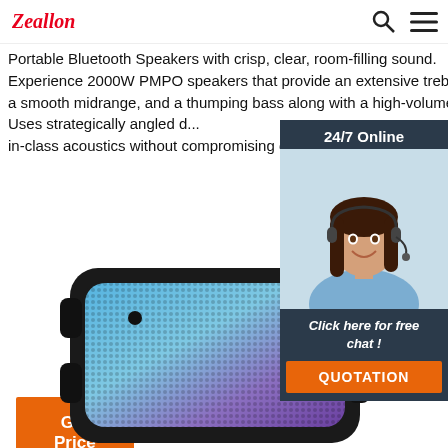Zeallon
Portable Bluetooth Speakers with crisp, clear, room-filling sound. Experience 2000W PMPO speakers that provide an extensive treble range, a smooth midrange, and a thumping bass along with a high-volume output. Uses strategically angled d... in-class acoustics without compromising on ampl...
[Figure (infographic): Chat widget with '24/7 Online' header, customer service agent photo, 'Click here for free chat!' text, and QUOTATION button]
Get Price
[Figure (photo): Portable Bluetooth speaker with illuminated blue/purple mesh grille and black rubber casing, viewed from front-top angle]